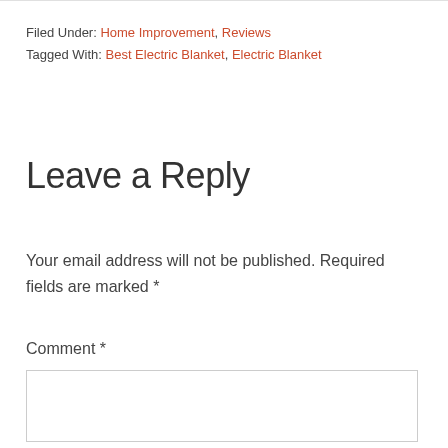Filed Under: Home Improvement, Reviews
Tagged With: Best Electric Blanket, Electric Blanket
Leave a Reply
Your email address will not be published. Required fields are marked *
Comment *